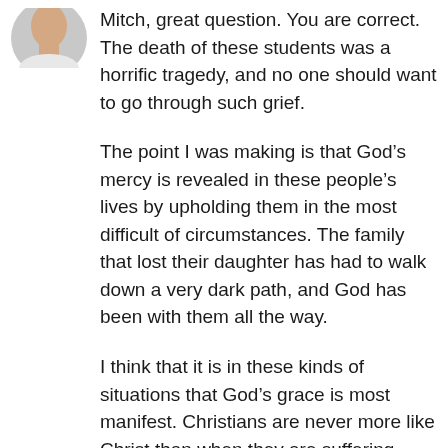[Figure (photo): Circular avatar photo of a person, showing partial face/neck at the top left of the content area]
Mitch, great question. You are correct. The death of these students was a horrific tragedy, and no one should want to go through such grief.
The point I was making is that God’s mercy is revealed in these people’s lives by upholding them in the most difficult of circumstances. The family that lost their daughter has had to walk down a very dark path, and God has been with them all the way.
I think that it is in these kinds of situations that God’s grace is most manifest. Christians are never more like Christ than when they are suffering. Though no one should seek out suffering for the sake of suffering, it is nevertheless true that Christian witness to the grace of God is strongest in the midst of